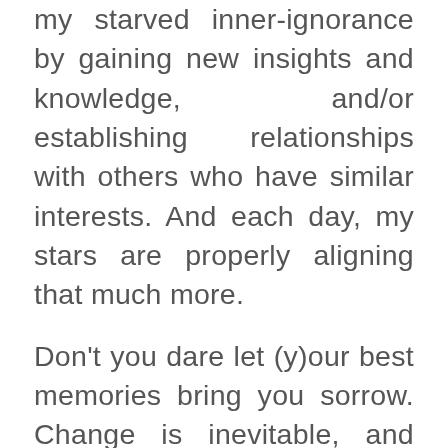my starved inner-ignorance by gaining new insights and knowledge, and/or establishing relationships with others who have similar interests. And each day, my stars are properly aligning that much more.
Don't you dare let (y)our best memories bring you sorrow. Change is inevitable, and change can be good. Allow changes to occur in your life so that you are able to begin (the next chapter) again. Be brave and daring. Take a chance on yourself (and others). You will not be a lost star forever if you continue to yearn